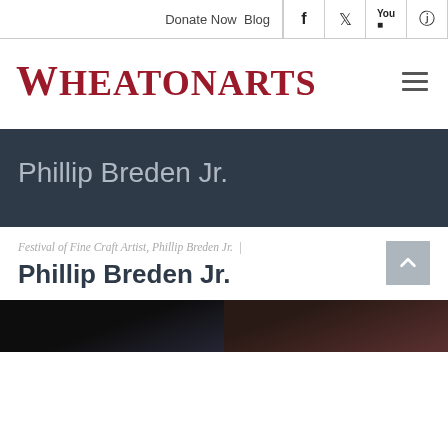Donate Now  Blog  [Facebook] [Twitter] [YouTube] [Instagram]
WheatonArts
Phillip Breden Jr.
Festival of Fine Craft Artist, Phillip Breden Jr.  |
Phillip Breden Jr.
[Figure (photo): Two side-by-side photos of Phillip Breden Jr., partially visible at the bottom of the page]